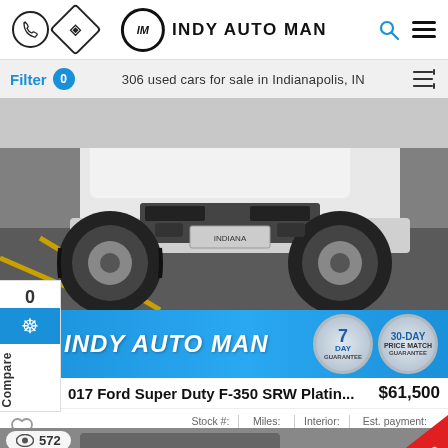INDY AUTO MAN — navigation header with phone icon, directions icon, logo, search icon, menu icon
Filter 0   306 used cars for sale in Indianapolis, IN
[Figure (photo): Close-up photo of a white Ford Super Duty truck front bumper and large off-road tires in a parking lot]
[Figure (logo): Indy Auto Man dealer banner with logo, 7-Day Guarantee badge, and 30-Day Price Match Guarantee badge]
2017 Ford Super Duty F-350 SRW Platin...   $61,500
Stock #: Z1012 | Miles: 84,006 | Interior: Black | Est. payment: $1,160/mo
[Figure (photo): Partial view of a second used car listing with 572 views indicator and Deal Price red banner]